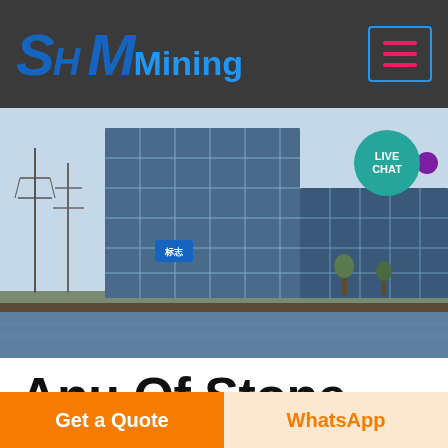[Figure (logo): SHM Mining company logo with large blue stylized letters S, H, M followed by 'Mining' text in blue on dark gray header background]
[Figure (photo): Photograph of modern glass-facade commercial buildings reflected in water, with electricity pylons on the left, taken in China]
Anu Of Stone Crusher
Get a Quote
WhatsApp